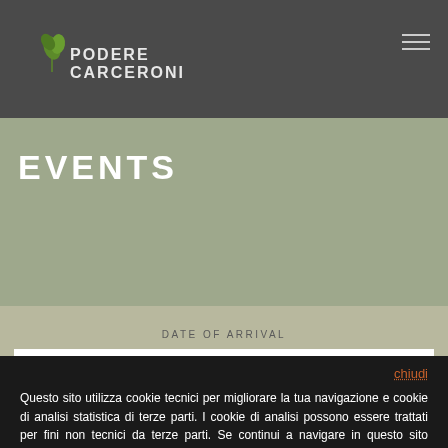Podere Carceroni
EVENTS
DATE OF ARRIVAL
DD-MM-YY
chiudi
Questo sito utilizza cookie tecnici per migliorare la tua navigazione e cookie di analisi statistica di terze parti. I cookie di analisi possono essere trattati per fini non tecnici da terze parti. Se continui a navigare in questo sito acconsenti all'uso di tutti i cookie. Se vuoi saperne di più clicca qui.